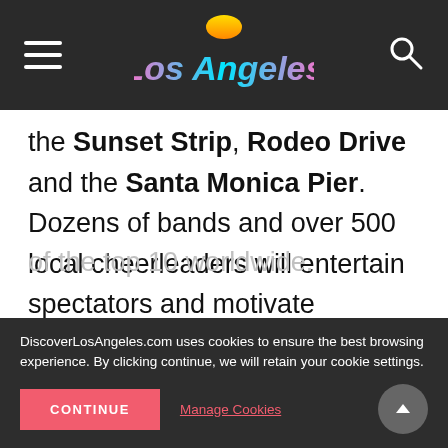Los Angeles (logo header with hamburger menu and search icon)
the Sunset Strip, Rodeo Drive and the Santa Monica Pier. Dozens of bands and over 500 local cheerleaders will entertain spectators and motivate runners. More than 27,000 athletes from all 50 states and over 78 countries are expected to participate in the race, which is one of the four largest marathons in the U.S. and one of the top 10 worldwide.
DiscoverLosAngeles.com uses cookies to ensure the best browsing experience. By clicking continue, we will retain your cookie settings.
CONTINUE
Manage Cookies